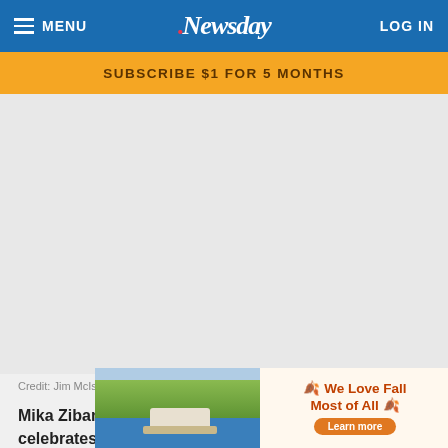MENU | Newsday | LOG IN
SUBSCRIBE $1 FOR 5 MONTHS
[Figure (photo): Large blank advertisement placeholder area]
Credit: Jim McIsaac
Mika Zibanejad #93 of the New York Rangers celebrates his firs... uring Game
[Figure (photo): Bottom advertisement: scenic lake with boat on left, and 'We Love Fall Most of All - Learn more' promotional banner on right]